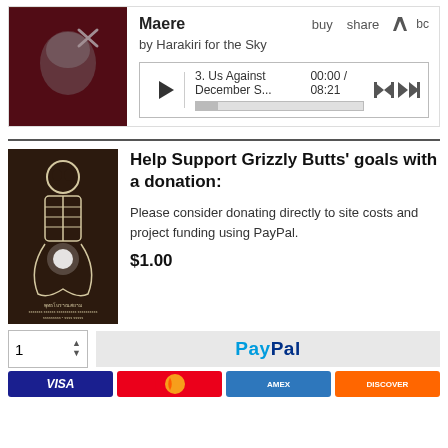[Figure (screenshot): Bandcamp music player showing album 'Maere' by Harakiri for the Sky with track 3 'Us Against December S...' at 00:00/08:21]
[Figure (illustration): Skeleton meditating figure on dark background with Thai script text below]
Help Support Grizzly Butts' goals with a donation:
Please consider donating directly to site costs and project funding using PayPal.
$1.00